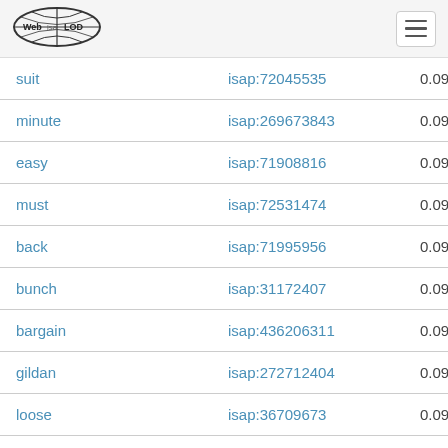Web isa LOD
| word | isap | score |
| --- | --- | --- |
| suit | isap:72045535 | 0.093877 |
| minute | isap:269673843 | 0.093294 |
| easy | isap:71908816 | 0.093270 |
| must | isap:72531474 | 0.093148 |
| back | isap:71995956 | 0.093045 |
| bunch | isap:31172407 | 0.092174 |
| bargain | isap:436206311 | 0.091940 |
| gildan | isap:272712404 | 0.091419 |
| loose | isap:36709673 | 0.091314 |
| own | isap:509664042 | 0.090669 |
| huge | isap:72174655 | 0.090287 |